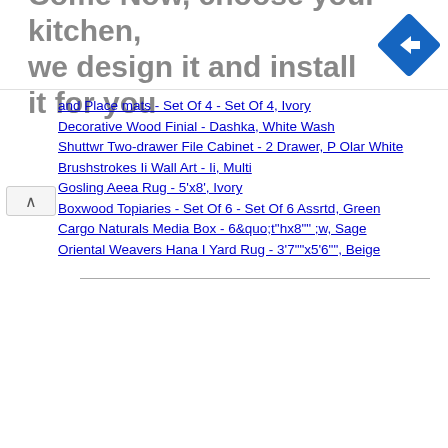[Figure (infographic): Advertisement banner: 'Come Now, choose your kitchen, we design it and install it for you' with a blue diamond navigation icon on the right]
and Place mats - Set Of 4 - Set Of 4, Ivory
Decorative Wood Finial - Dashka, White Wash
Shuttwr Two-drawer File Cabinet - 2 Drawer, P Olar White
Brushstrokes Ii Wall Art - Ii, Multi
Gosling Aeea Rug - 5'x8', Ivory
Boxwood Topiaries - Set Of 6 - Set Of 6 Assrtd, Green
Cargo Naturals Media Box - 6&quo;t"hx8"" ;w, Sage
Oriental Weavers Hana I Yard Rug - 3'7""x5'6"", Beige